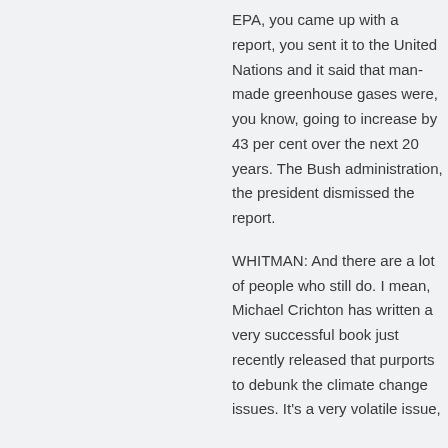EPA, you came up with a report, you sent it to the United Nations and it said that man-made greenhouse gases were, you know, going to increase by 43 per cent over the next 20 years. The Bush administration, the president dismissed the report.
WHITMAN: And there are a lot of people who still do. I mean, Michael Crichton has written a very successful book just recently released that purports to debunk the climate change issues. It's a very volatile issue,